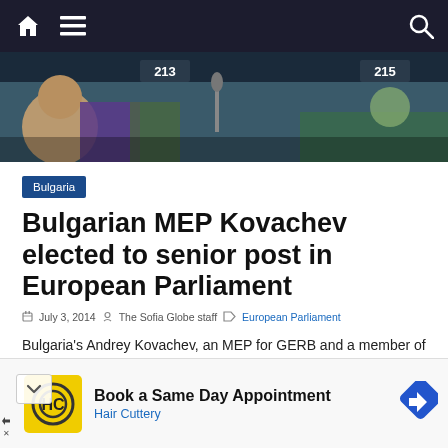Navigation bar with home, menu, and search icons
[Figure (photo): Photo of European Parliament chamber interior, showing numbered seats (213, 215 visible), microphones, and people in session]
Bulgaria
Bulgarian MEP Kovachev elected to senior post in European Parliament
July 3, 2014  The Sofia Globe staff  European Parliament
Bulgaria's Andrey Kovachev, an MEP for GERB and a member of the centre-right European People's Party political p in the European Parliament, has been elected one of
[Figure (infographic): Advertisement banner for Hair Cuttery: Book a Same Day Appointment]